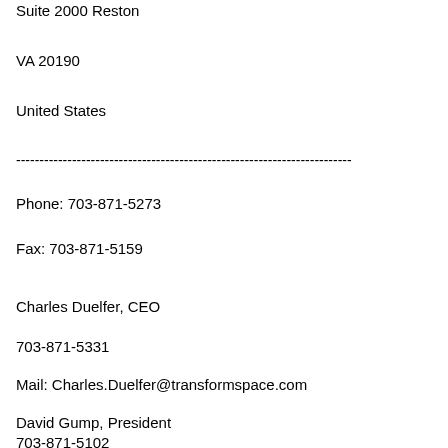Suite 2000 Reston
VA 20190
United States
------------------------------------------------------------------------
Phone: 703-871-5273
Fax: 703-871-5159
Charles Duelfer, CEO
703-871-5331
Mail: Charles.Duelfer@transformspace.com
David Gump, President
703-871-5102